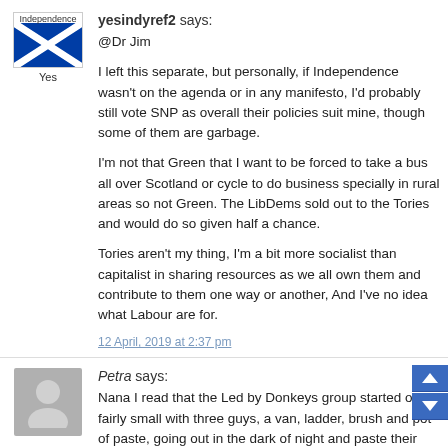[Figure (illustration): Scottish independence flag avatar with 'Independence' text above and 'Yes' text below]
yesindyref2 says:
@Dr Jim
I left this separate, but personally, if Independence wasn't on the agenda or in any manifesto, I'd probably still vote SNP as overall their policies suit mine, though some of them are garbage.
I'm not that Green that I want to be forced to take a bus all over Scotland or cycle to do business specially in rural areas so not Green. The LibDems sold out to the Tories and would do so given half a chance.
Tories aren't my thing, I'm a bit more socialist than capitalist in sharing resources as we all own them and contribute to them one way or another, And I've no idea what Labour are for.
12 April, 2019 at 2:37 pm
[Figure (illustration): Gray silhouette person avatar]
Petra says:
Nana I read that the Led by Donkeys group started out fairly small with three guys, a van, ladder, brush and pot of paste, going out in the dark of night and paste their posters, ille...